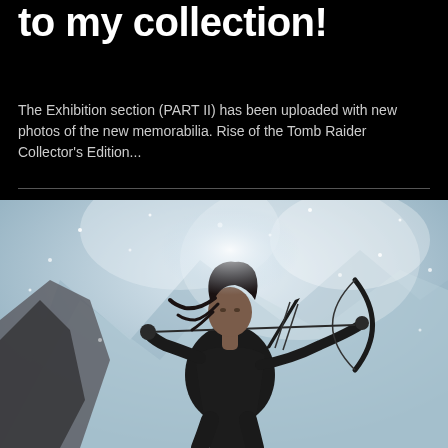to my collection!
The Exhibition section (PART II) has been uploaded with new photos of the new memorabilia. Rise of the Tomb Raider Collector's Edition...
[Figure (illustration): Artwork showing Lara Croft from Rise of the Tomb Raider, dressed in dark leather jacket and gear, drawing a bow and arrow in a snowy mountain environment with snow and ice in the background.]